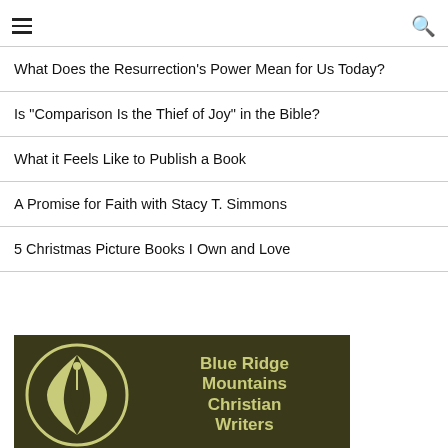≡  🔍
What Does the Resurrection's Power Mean for Us Today?
Is "Comparison Is the Thief of Joy" in the Bible?
What it Feels Like to Publish a Book
A Promise for Faith with Stacy T. Simmons
5 Christmas Picture Books I Own and Love
[Figure (logo): Blue Ridge Mountains Christian Writers logo — dark olive background with a pen-nib circular emblem and bold yellow-green text reading 'Blue Ridge Mountains Christian Writers']